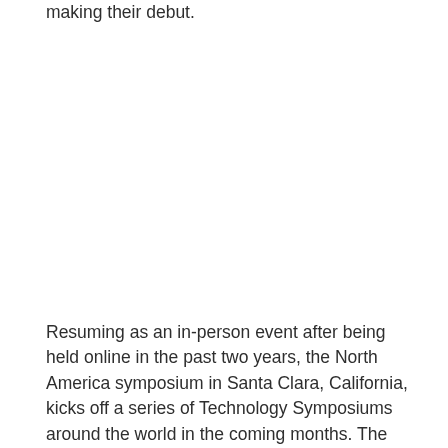making their debut.
Resuming as an in-person event after being held online in the past two years, the North America symposium in Santa Clara, California, kicks off a series of Technology Symposiums around the world in the coming months. The